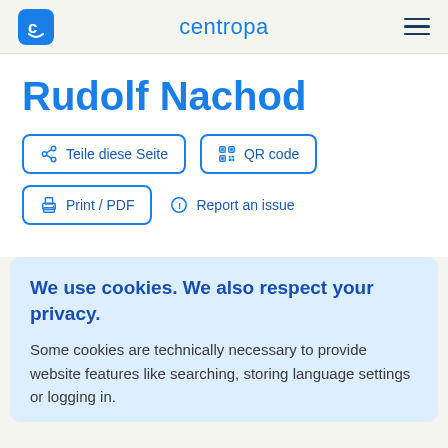centropa
Rudolf Nachod
Teile diese Seite
QR code
Print / PDF
Report an issue
We use cookies. We also respect your privacy.
Some cookies are technically necessary to provide website features like searching, storing language settings or logging in.